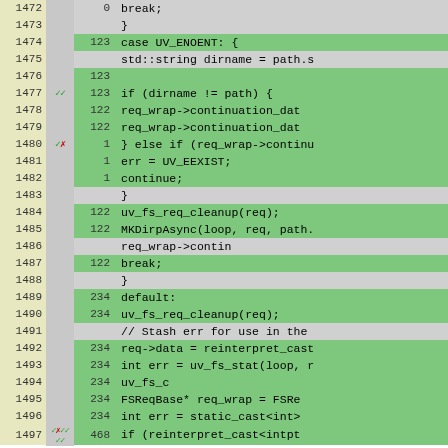[Figure (screenshot): Code coverage viewer showing C++ source lines 1472-1497 with line numbers, coverage markers (checkmarks/X marks), hit counts, and highlighted source code. Green rows indicate covered code, gray rows indicate uncovered or continuation lines.]